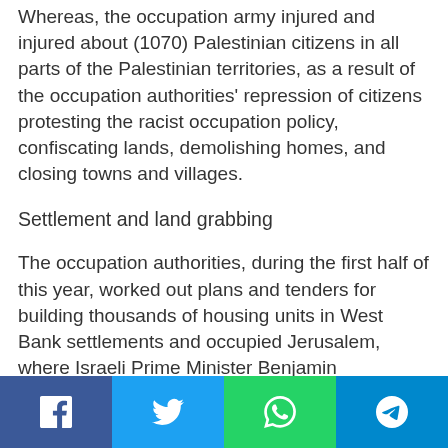Whereas, the occupation army injured and injured about (1070) Palestinian citizens in all parts of the Palestinian territories, as a result of the occupation authorities' repression of citizens protesting the racist occupation policy, confiscating lands, demolishing homes, and closing towns and villages.
Settlement and land grabbing
The occupation authorities, during the first half of this year, worked out plans and tenders for building thousands of housing units in West Bank settlements and occupied Jerusalem, where Israeli Prime Minister Benjamin Netanyahu gave instructions to prepare plans
Social share bar: Facebook, Twitter, WhatsApp, Telegram